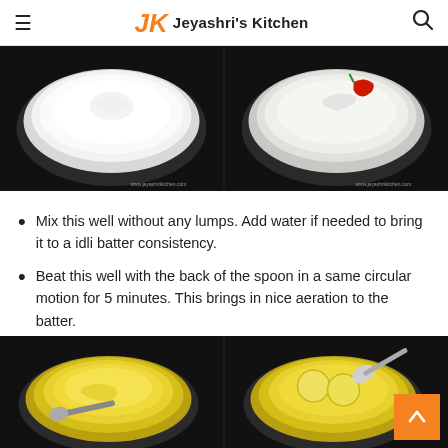Jeyashri's Kitchen
[Figure (photo): Two side-by-side photos: left shows a white bowl with white flour/powder mixture, right shows a white bowl with thick batter and a red chili on top, both on dark background]
Mix this well without any lumps. Add water if needed to bring it to a idli batter consistency.
Beat this well with the back of the spoon in a same circular motion for 5 minutes. This brings in nice aeration to the batter.
[Figure (photo): Two side-by-side photos: left shows a white bowl with yellow batter and a spoon, right shows a white bowl with yellow batter and two round balls/items with a spoon, on dark background]